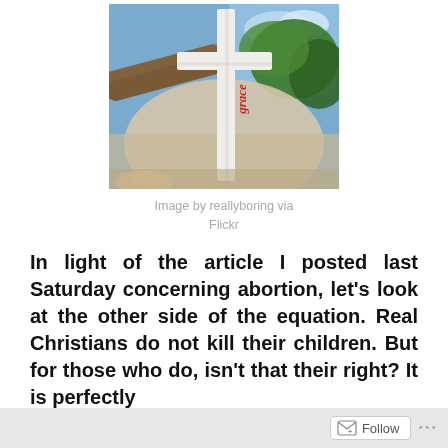[Figure (photo): A white cross with red cursive writing on it, photographed against a blue sky with trees and a building in the background. A hand is visible at the bottom left corner of the image.]
Image by reallyboring via Flickr
In light of the article I posted last Saturday concerning abortion, let’s look at the other side of the equation. Real Christians do not kill their children. But for those who do, isn’t that their right? It is perfectly